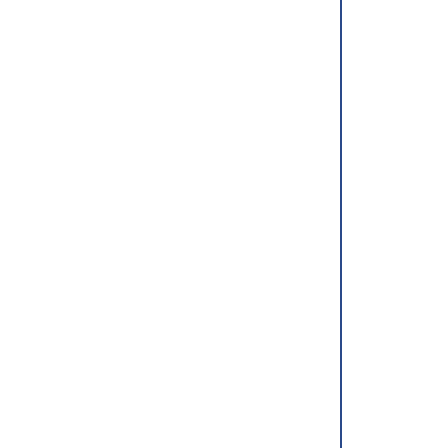Notwithstanding Sections 6 and 8 reimbursement by the State is req any mandate created by this Secti (Source: P.A. 96-1288, eff. 7-26 333, eff. 8-12-11.)

    (35 ILCS 200/15-168)
         Sec. 15-168. Homestead disabilities.
    (a) Beginning with taxable exemption is granted to persons w of $2,000, except as provided in from the property's value as  Department of Revenue. The pe receive the homestead exemptio requirements:
         (1) The property must be         residence by the person with          (2) The person with a dis         paying the real estate taxes          (3) The person with a dis         record of the property or hav         in the property as evidenced         case of a leasehold interest         for a single family residence     A person who has a disabili eligible to apply for this ho taxable year. Application must b period in effect for the county exemption has been granted unde